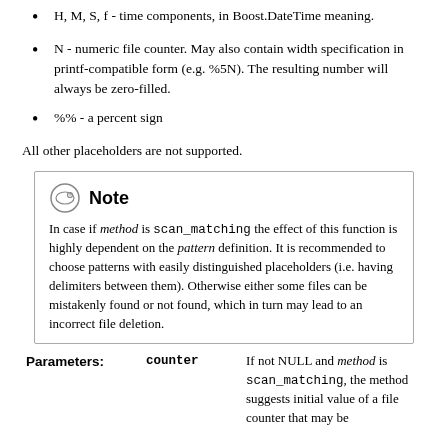H, M, S, f - time components, in Boost.DateTime meaning.
N - numeric file counter. May also contain width specification in printf-compatible form (e.g. %5N). The resulting number will always be zero-filled.
%% - a percent sign
All other placeholders are not supported.
Note
In case if method is scan_matching the effect of this function is highly dependent on the pattern definition. It is recommended to choose patterns with easily distinguished placeholders (i.e. having delimiters between them). Otherwise either some files can be mistakenly found or not found, which in turn may lead to an incorrect file deletion.
Parameters: counter — If not NULL and method is scan_matching, the method suggests initial value of a file counter that may be